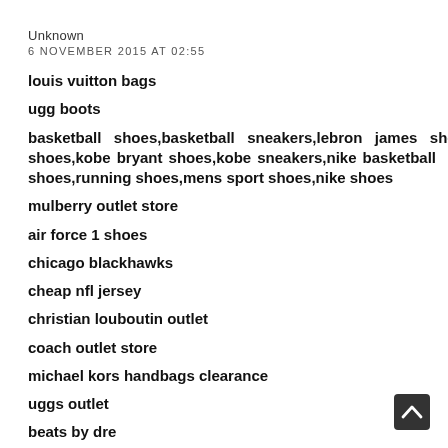Unknown
6 NOVEMBER 2015 AT 02:55
louis vuitton bags
ugg boots
basketball shoes,basketball sneakers,lebron james shoes,sports shoes,kobe bryant shoes,kobe sneakers,nike basketball shoes,running shoes,mens sport shoes,nike shoes
mulberry outlet store
air force 1 shoes
chicago blackhawks
cheap nfl jersey
christian louboutin outlet
coach outlet store
michael kors handbags clearance
uggs outlet
beats by dre
new york knicks
thomas sabo outlet...